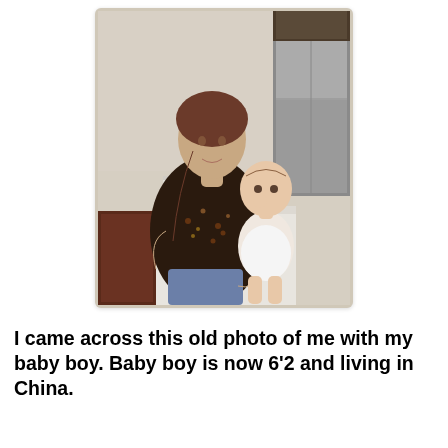[Figure (photo): A vintage photograph of a woman with brown braided hair wearing a dark floral top and blue jeans, holding a baby/toddler in a white onesie. They are standing in what appears to be a kitchen with a white dresser or counter and a stainless steel refrigerator visible in the background.]
I came across this old photo of me with my baby boy.  Baby boy is now 6'2 and living in China.